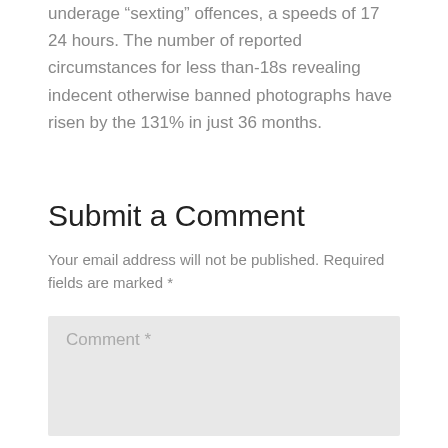underage “sexting” offences, a speeds of 17 24 hours. The number of reported circumstances for less than-18s revealing indecent otherwise banned photographs have risen by the 131% in just 36 months.
Submit a Comment
Your email address will not be published. Required fields are marked *
[Figure (other): Comment text input area with placeholder text 'Comment *']